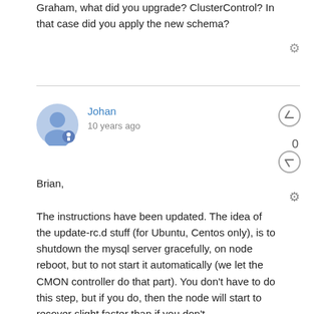Graham, what did you upgrade? ClusterControl?  In that case did you apply the new schema?
Johan
10 years ago
Brian,

The instructions have been updated. The idea of the update-rc.d stuff (for Ubuntu, Centos only), is to shutdown the mysql server gracefully, on node reboot, but to not start it automatically (we let the CMON controller do that part). You don't have to do this step, but if you do, then the node will start to recover slight faster than if you don't.

But yes, otherwise, take one node at a time, let it be green then proceed to the next one.